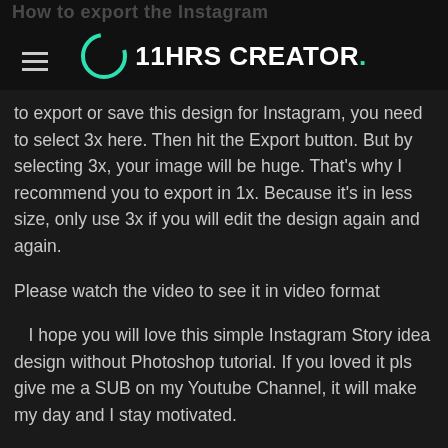How to export the Instagram
[Figure (logo): 11HRS CREATOR logo with teal circle C icon and white bold text]
to export or save this design for Instagram, you need to select 3x here. Then hit the Export button. But by selecting 3x, your image will be huge. That's why I recommend you to export in 1x. Because it's in less size, only use 3x if you will edit the design again and again.
Please watch the video to see it in video format
I hope you will love this simple Instagram Story idea design without Photoshop tutorial. If you loved it pls give me a SUB on my Youtube Channel, it will make my day and I stay motivated.